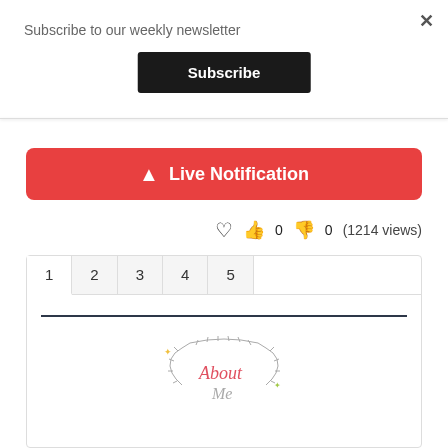Subscribe to our weekly newsletter
×
Subscribe
🔔 Live Notification
♡  👍 0  👎 0  (1214 views)
1  2  3  4  5
[Figure (illustration): Decorative 'About Me' script text with a circular wreath of leaves illustration]